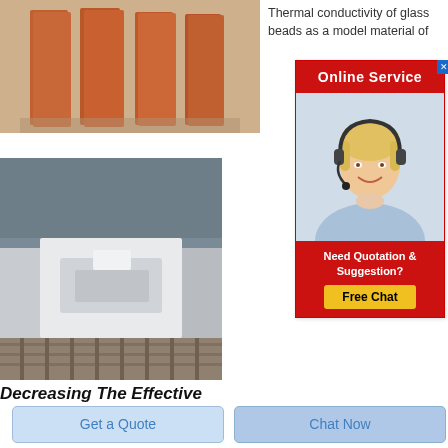[Figure (photo): Photo of orange/terracotta rectangular insulation or refractory brick pieces standing upright on a sandy surface]
Thermal conductivity of glass beads as a model material of
[Figure (photo): Photo of white refractory or insulation foam blocks/slabs arranged on a factory floor with wooden pallets]
[Figure (screenshot): Online Service popup widget with red header saying 'Online Service', a photo of a blonde woman wearing a headset, and a red bottom section saying 'Need Quotation & Suggestion?' with a yellow 'Free Chat' button. Has a blue close (X) button.]
Decreasing The Effective
Get a Quote
Chat Now